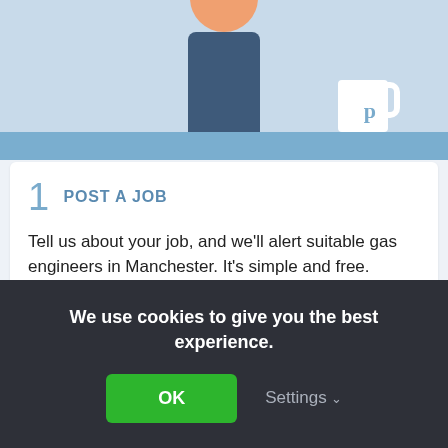[Figure (illustration): Illustration of a person at a desk or computer with a mug, blue color scheme]
1 POST A JOB
Tell us about your job, and we'll alert suitable gas engineers in Manchester. It's simple and free.
BROWSE GAS ENGINEERS NEAR YOU
Browse gas engineers near you, read profiles and contact them by inviting them to quote.
We use cookies to give you the best experience.
OK
Settings